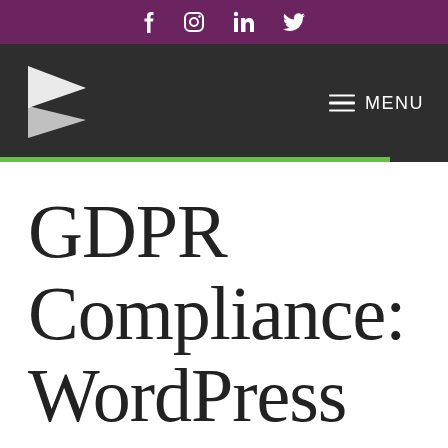f  ig  in  Twitter social icons
[Figure (logo): Angular arrow logo mark in white on dark background, with MENU hamburger navigation]
GDPR Compliance: WordPress & Gravity